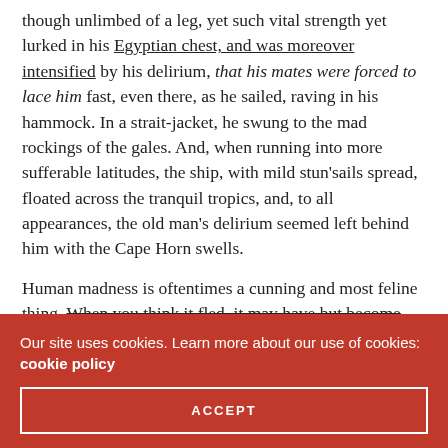though unlimbed of a leg, yet such vital strength yet lurked in his Egyptian chest, and was moreover intensified by his delirium, that his mates were forced to lace him fast, even there, as he sailed, raving in his hammock. In a strait-jacket, he swung to the mad rockings of the gales. And, when running into more sufferable latitudes, the ship, with mild stun'sails spread, floated across the tranquil tropics, and, to all appearances, the old man's delirium seemed left behind him with the Cape Horn swells.
Human madness is oftentimes a cunning and most feline thing. When you think it fled, it may have but become transfigured into some still subtler form.
Our site uses cookies. Learn more about our use of cookies: cookie policy
ACCEPT